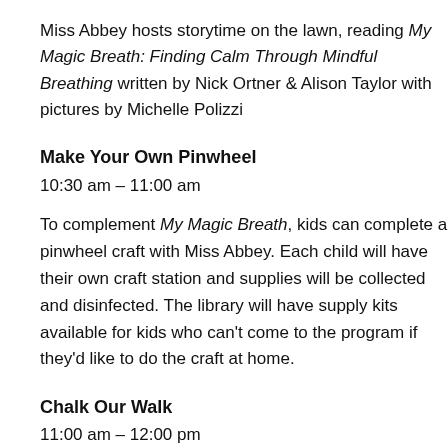Miss Abbey hosts storytime on the lawn, reading My Magic Breath: Finding Calm Through Mindful Breathing written by Nick Ortner & Alison Taylor with pictures by Michelle Polizzi
Make Your Own Pinwheel
10:30 am – 11:00 am
To complement My Magic Breath, kids can complete a pinwheel craft with Miss Abbey. Each child will have their own craft station and supplies will be collected and disinfected. The library will have supply kits available for kids who can't come to the program if they'd like to do the craft at home.
Chalk Our Walk
11:00 am – 12:00 pm
Come make sidewalk chalk art around the library. We